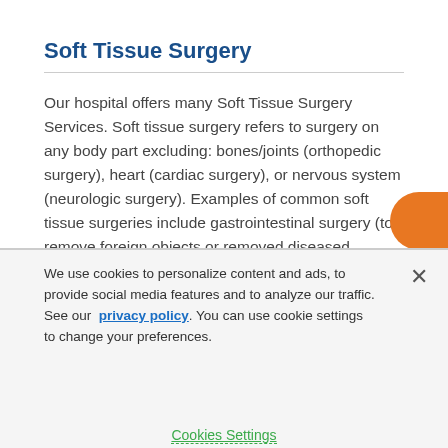Soft Tissue Surgery
Our hospital offers many Soft Tissue Surgery Services. Soft tissue surgery refers to surgery on any body part excluding: bones/joints (orthopedic surgery), heart (cardiac surgery), or nervous system (neurologic surgery). Examples of common soft tissue surgeries include gastrointestinal surgery (to remove foreign objects or removed diseased sections of intestine), bladder surgery (to remove stones or polyps), liver surgery (to remove masses or
We use cookies to personalize content and ads, to provide social media features and to analyze our traffic. See our privacy policy. You can use cookie settings to change your preferences.